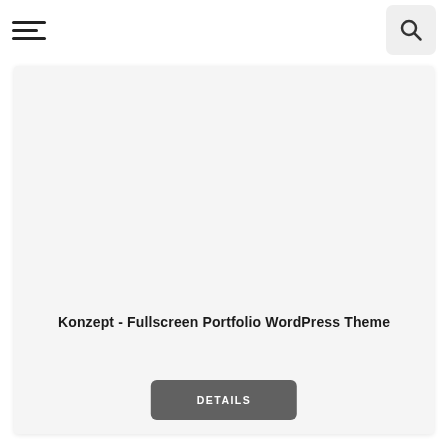[Figure (screenshot): Website navigation bar with hamburger menu icon on the left and a search button (magnifying glass icon) on the right with light grey rounded background]
[Figure (screenshot): Large light grey card area with mostly empty white/light space representing a fullscreen portfolio WordPress theme preview]
Konzept - Fullscreen Portfolio WordPress Theme
DETAILS